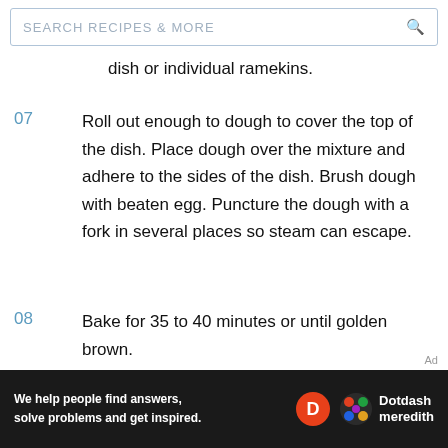SEARCH RECIPES & MORE
dish or individual ramekins.
07  Roll out enough to dough to cover the top of the dish. Place dough over the mixture and adhere to the sides of the dish. Brush dough with beaten egg. Puncture the dough with a fork in several places so steam can escape.
08  Bake for 35 to 40 minutes or until golden brown.
[Figure (other): Dotdash Meredith advertisement banner with text: We help people find answers, solve problems and get inspired.]